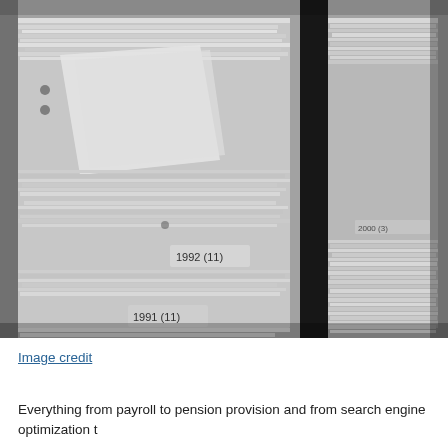[Figure (photo): Black and white photograph of large stacks of paper files crammed into filing trays or binders, showing overflowing documents and folders. Labels visible include '1992' and '1991'.]
Image credit
Everything from payroll to pension provision and from search engine optimization t